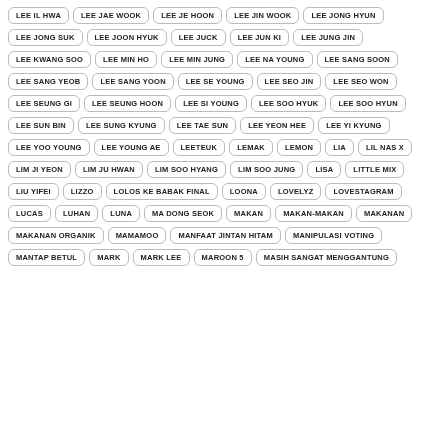LEE IL HWA, LEE JAE WOOK, LEE JE HOON, LEE JIN WOOK, LEE JONG HYUN, LEE JONG SUK, LEE JOON HYUK, LEE JUCK, LEE JUN KI, LEE JUNG JIN, LEE KWANG SOO, LEE MIN HO, LEE MIN JUNG, LEE NA YOUNG, LEE SANG SOON, LEE SANG YEOB, LEE SANG YOON, LEE SE YOUNG, LEE SEO JIN, LEE SEO WON, LEE SEUNG GI, LEE SEUNG HOON, LEE SI YOUNG, LEE SOO HYUK, LEE SOO HYUN, LEE SUN BIN, LEE SUNG KYUNG, LEE TAE SUN, LEE YEON HEE, LEE YI KYUNG, LEE YOO YOUNG, LEE YOUNG AE, LEETEUK, LEMAK, LEMON, LIA, LIL NAS X, LIM JI YEON, LIM JU HWAN, LIM SOO HYANG, LIM SOO JUNG, LISA, LITTLE MIX, LIU YIFEI, LIZZO, LOLOS KE BABAK FINAL, LOONA, LOVELYZ, LOVESTAGRAM, LUCAS, LUHAN, LUNA, MA DONG SEOK, MAKAN, MAKAN-MAKAN, MAKANAN, MAKANAN ORGANIK, MAMAMOO, MANFAAT JINTAN HITAM, MANIPULASI VOTING, MANTAP BETUL, MARK, MARK LEE, MAROON 5, MASIH SANGAT MENGGANTUNG